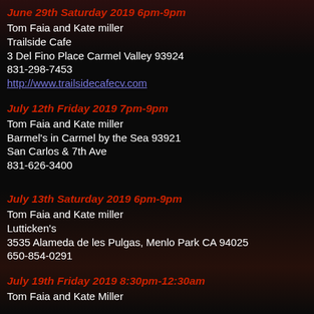June 29th Saturday 2019 6pm-9pm
Tom Faia and Kate miller
Trailside Cafe
3 Del Fino Place Carmel Valley 93924
831-298-7453
http://www.trailsidecafecv.com
July 12th Friday 2019 7pm-9pm
Tom Faia and Kate miller
Barmel's in Carmel by the Sea 93921
San Carlos & 7th Ave
831-626-3400
July 13th Saturday 2019 6pm-9pm
Tom Faia and Kate miller
Lutticken's
3535 Alameda de les Pulgas, Menlo Park CA 94025
650-854-0291
July 19th Friday 2019 8:30pm-12:30am
Tom Faia and Kate Miller